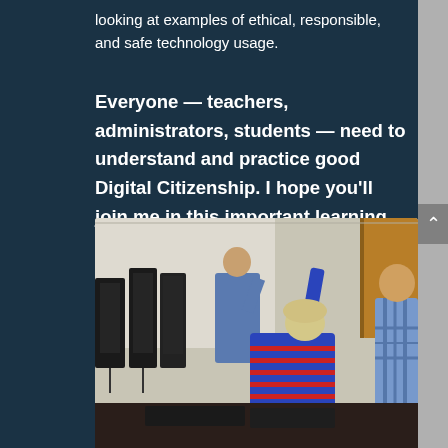looking at examples of ethical, responsible, and safe technology usage.
Everyone — teachers, administrators, students — need to understand and practice good Digital Citizenship. I hope you'll join me in this important learning.
[Figure (photo): Classroom photo showing students at computer workstations with monitors, a student raising their hand, and a teacher in the background at a whiteboard.]